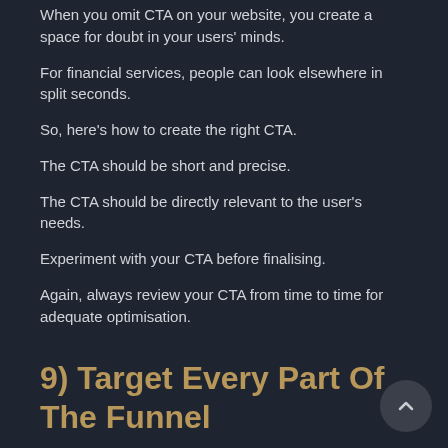When you omit CTA on your website, you create a space for doubt in your users' minds.
For financial services, people can look elsewhere in split seconds.
So, here's how to create the right CTA.
The CTA should be short and precise.
The CTA should be directly relevant to the user's needs.
Experiment with your CTA before finalising.
Again, always review your CTA from time to time for adequate optimisation.
9) Target Every Part Of The Funnel